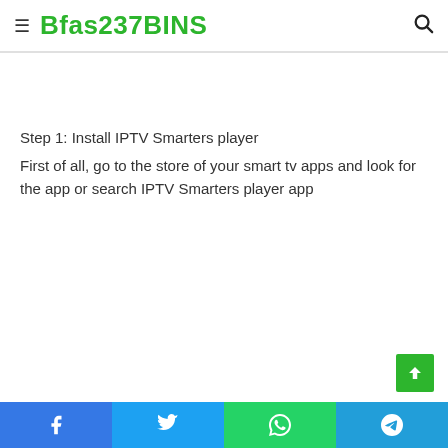≡ Bfas237BINS 🔍
Step 1: Install IPTV Smarters player
First of all, go to the store of your smart tv apps and look for the app or search IPTV Smarters player app